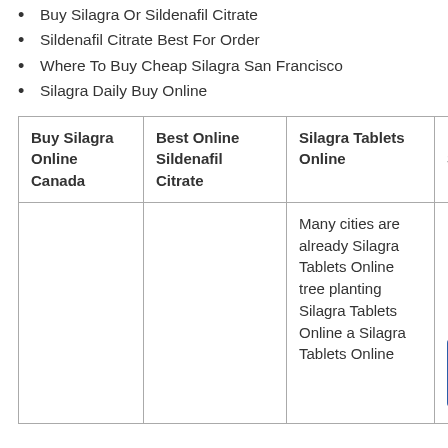Buy Silagra Or Sildenafil Citrate
Sildenafil Citrate Best For Order
Where To Buy Cheap Silagra San Francisco
Silagra Daily Buy Online
| Buy Silagra Online Canada | Best Online Sildenafil Citrate | Silagra Tablets Online | Low Cost Silagra |
| --- | --- | --- | --- |
|  |  | Many cities are already Silagra Tablets Online tree planting Silagra Tablets Online a Silagra Tablets Online |  |